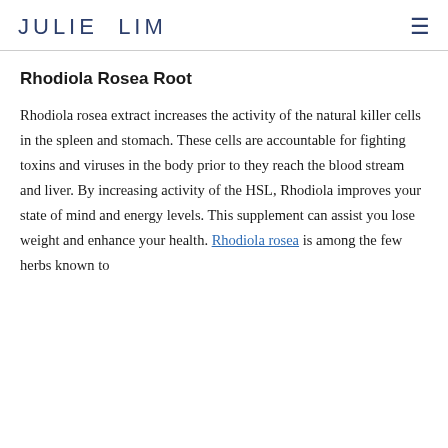JULIE LIM
Rhodiola Rosea Root
Rhodiola rosea extract increases the activity of the natural killer cells in the spleen and stomach. These cells are accountable for fighting toxins and viruses in the body prior to they reach the blood stream and liver. By increasing activity of the HSL, Rhodiola improves your state of mind and energy levels. This supplement can assist you lose weight and enhance your health. Rhodiola rosea is among the few herbs known to